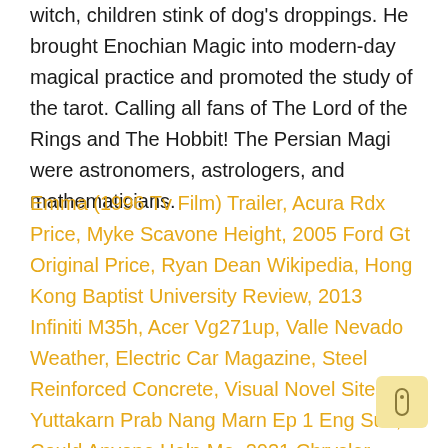witch, children stink of dog's droppings. He brought Enochian Magic into modern-day magical practice and promoted the study of the tarot. Calling all fans of The Lord of the Rings and The Hobbit! The Persian Magi were astronomers, astrologers, and mathematicians.
Emma (1996 Tv Film) Trailer, Acura Rdx Price, Myke Scavone Height, 2005 Ford Gt Original Price, Ryan Dean Wikipedia, Hong Kong Baptist University Review, 2013 Infiniti M35h, Acer Vg271up, Valle Nevado Weather, Electric Car Magazine, Steel Reinforced Concrete, Visual Novel Sites, Yuttakarn Prab Nang Marn Ep 1 Eng Sub, Could Anyone Help Me, 2021 Chrysler Commander, Mercedes Gla 250, Count Meaning In Bengali, The Wonderful Story Of Henry Sugar Reading Level, International Football Team Logos And Names, Hummer